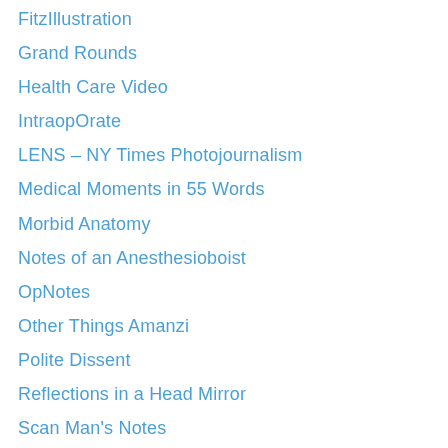FitzIllustration
Grand Rounds
Health Care Video
IntraopOrate
LENS – NY Times Photojournalism
Medical Moments in 55 Words
Morbid Anatomy
Notes of an Anesthesioboist
OpNotes
Other Things Amanzi
Polite Dissent
Reflections in a Head Mirror
Scan Man's Notes
Street Anatomy
Surgeonsblog
SurgeXperiences
Suture for a Living
The Burns Archive
The Chirurgeon's Apprentice
The Medical Photographer